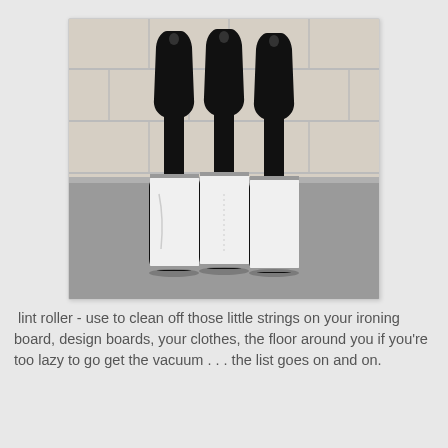[Figure (photo): Three lint rollers with black handles and white cylindrical roller heads, standing upright on a gray counter surface with white subway tile wall in background.]
lint roller - use to clean off those little strings on your ironing board, design boards, your clothes, the floor around you if you're too lazy to go get the vacuum . . . the list goes on and on.